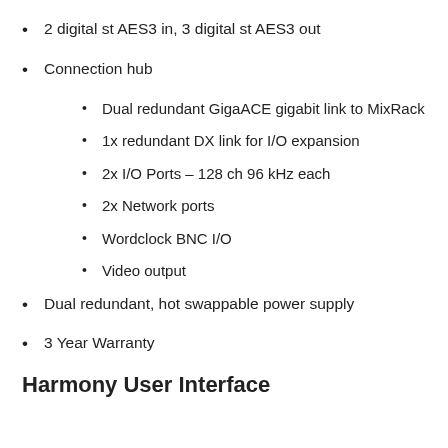2 digital st AES3 in, 3 digital st AES3 out
Connection hub
Dual redundant GigaACE gigabit link to MixRack
1x redundant DX link for I/O expansion
2x I/O Ports – 128 ch 96 kHz each
2x Network ports
Wordclock BNC I/O
Video output
Dual redundant, hot swappable power supply
3 Year Warranty
Harmony User Interface